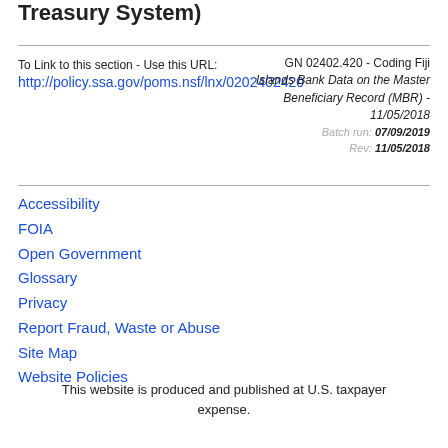Treasury System)
To Link to this section - Use this URL:
http://policy.ssa.gov/poms.nsf/lnx/0202402420
GN 02402.420 - Coding Fiji Islands Bank Data on the Master Beneficiary Record (MBR) - 11/05/2018
Batch run: 07/09/2019
Rev: 11/05/2018
Accessibility
FOIA
Open Government
Glossary
Privacy
Report Fraud, Waste or Abuse
Site Map
Website Policies
This website is produced and published at U.S. taxpayer expense.